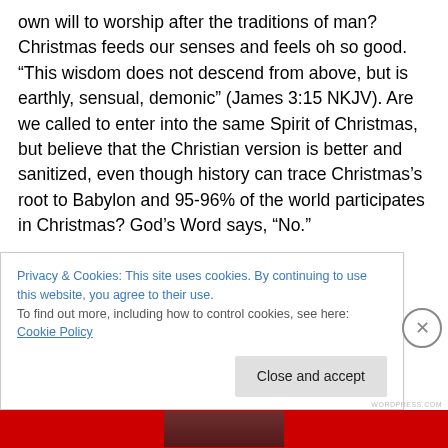own will to worship after the traditions of man? Christmas feeds our senses and feels oh so good. “This wisdom does not descend from above, but is earthly, sensual, demonic” (James 3:15 NKJV). Are we called to enter into the same Spirit of Christmas, but believe that the Christian version is better and sanitized, even though history can trace Christmas’s root to Babylon and 95-96% of the world participates in Christmas? God’s Word says, “No.”

Please be a Berean, and search this out yourself! Get out your Bible and get into your prayer closet. And if you need
Privacy & Cookies: This site uses cookies. By continuing to use this website, you agree to their use.
To find out more, including how to control cookies, see here: Cookie Policy